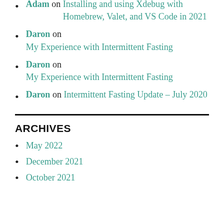Adam on Installing and using Xdebug with Homebrew, Valet, and VS Code in 2021
Daron on My Experience with Intermittent Fasting
Daron on My Experience with Intermittent Fasting
Daron on Intermittent Fasting Update – July 2020
ARCHIVES
May 2022
December 2021
October 2021